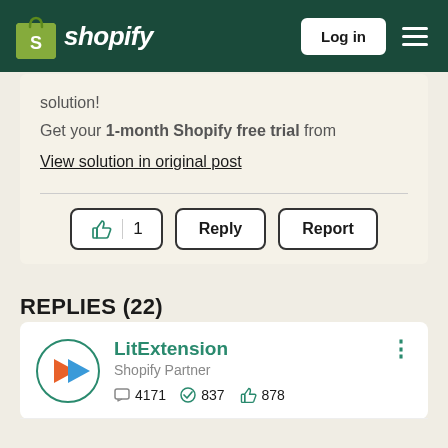Shopify — Log in
solution!
Get your 1-month Shopify free trial from
View solution in original post
REPLIES (22)
LitExtension — Shopify Partner — 4171 messages, 837 solutions, 878 likes